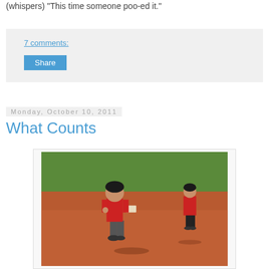(whispers) "This time someone poo-ed it."
7 comments:
Share
Monday, October 10, 2011
What Counts
[Figure (photo): Two young boys in red shirts standing on a baseball diamond with red dirt infield and green grass outfield in background.]